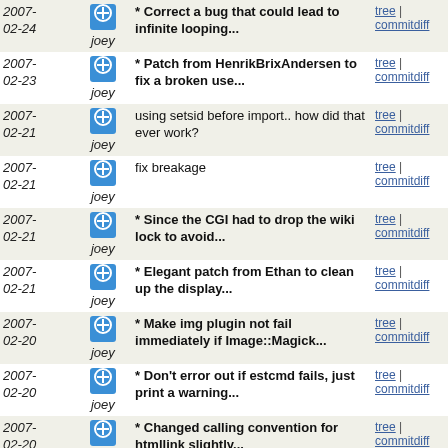| Date | Author | Message | Links |
| --- | --- | --- | --- |
| 2007-02-24 | joey | * Correct a bug that could lead to infinite looping... | tree | commitdiff |
| 2007-02-23 | joey | * Patch from HenrikBrixAndersen to fix a broken use... | tree | commitdiff |
| 2007-02-21 | joey | using setsid before import.. how did that ever work? | tree | commitdiff |
| 2007-02-21 | joey | fix breakage | tree | commitdiff |
| 2007-02-21 | joey | * Since the CGI had to drop the wiki lock to avoid... | tree | commitdiff |
| 2007-02-21 | joey | * Elegant patch from Ethan to clean up the display... | tree | commitdiff |
| 2007-02-20 | joey | * Make img plugin not fail immediately if Image::Magick... | tree | commitdiff |
| 2007-02-20 | joey | * Don't error out if estcmd fails, just print a warning... | tree | commitdiff |
| 2007-02-20 | joey | * Changed calling convention for htmllink slightly... | tree | commitdiff |
| 2007-02-15 | joey | improve string | tree | commitdiff |
| 2007-02-15 | joey | add day of week to prettydate, and i18n | tree | commitdiff |
| 2007-02-15 | joey | italisise urls | tree | commitdiff |
| 2007-02-15 | joey | supress redef warning | tree | commitdiff |